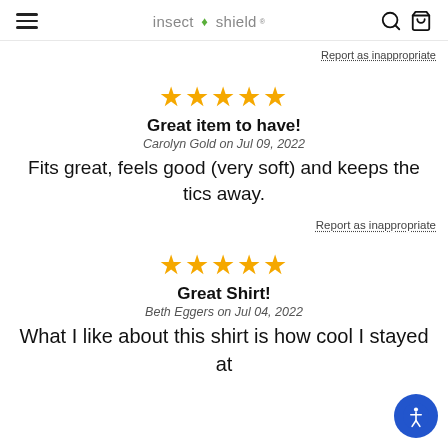insect shield
Report as inappropriate
★★★★★
Great item to have!
Carolyn Gold on Jul 09, 2022
Fits great, feels good (very soft) and keeps the tics away.
Report as inappropriate
★★★★★
Great Shirt!
Beth Eggers on Jul 04, 2022
What I like about this shirt is how cool I stayed at